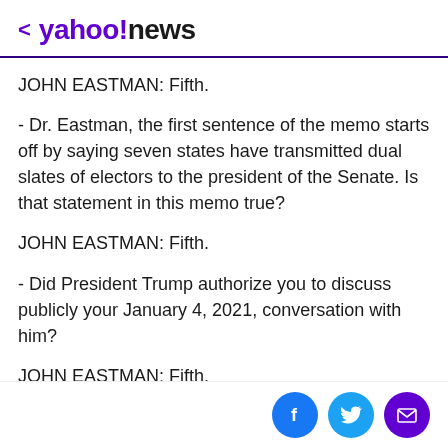< yahoo!news
JOHN EASTMAN: Fifth.
- Dr. Eastman, the first sentence of the memo starts off by saying seven states have transmitted dual slates of electors to the president of the Senate. Is that statement in this memo true?
JOHN EASTMAN: Fifth.
- Did President Trump authorize you to discuss publicly your January 4, 2021, conversation with him?
JOHN EASTMAN: Fifth.
- So is it your position that you can discuss in the media